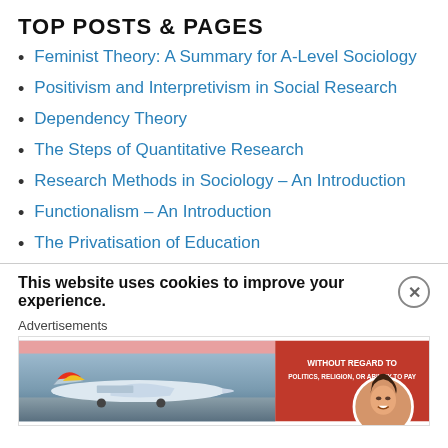TOP POSTS & PAGES
Feminist Theory: A Summary for A-Level Sociology
Positivism and Interpretivism in Social Research
Dependency Theory
The Steps of Quantitative Research
Research Methods in Sociology - An Introduction
Functionalism - An Introduction
The Privatisation of Education
This website uses cookies to improve your experience.
Advertisements
[Figure (photo): Advertisement banner showing an airplane on the tarmac with cargo, and a red panel with text 'WITHOUT REGARD TO POLITICS, RELIGION, OR ABILITY TO PAY'. A circular avatar of a smiling woman is in the bottom right corner.]